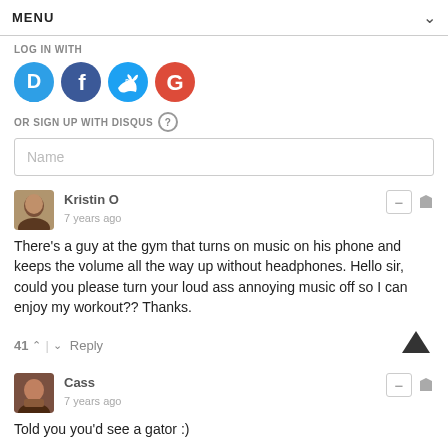MENU
LOG IN WITH
[Figure (logo): Social login icons: Disqus (blue), Facebook (dark blue), Twitter (light blue), Google (red)]
OR SIGN UP WITH DISQUS ?
Name
Kristin O
7 years ago
There's a guy at the gym that turns on music on his phone and keeps the volume all the way up without headphones. Hello sir, could you please turn your loud ass annoying music off so I can enjoy my workout?? Thanks.
41 ^ | v Reply
Cass
7 years ago
Told you you'd see a gator :)